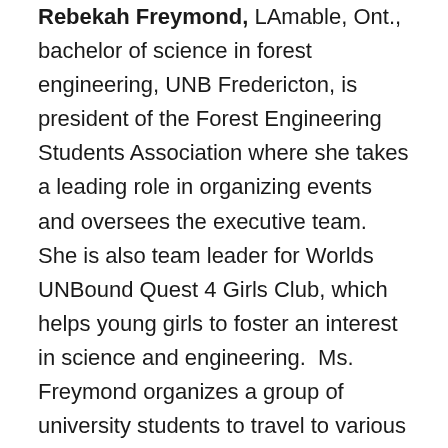Rebekah Freymond, LAmable, Ont., bachelor of science in forest engineering, UNB Fredericton, is president of the Forest Engineering Students Association where she takes a leading role in organizing events and oversees the executive team.  She is also team leader for Worlds UNBound Quest 4 Girls Club, which helps young girls to foster an interest in science and engineering.  Ms. Freymond organizes a group of university students to travel to various public schools to undertake engineering-related projects with the girls.  She also tutors a middle school student in mathematics on a weekly basis.